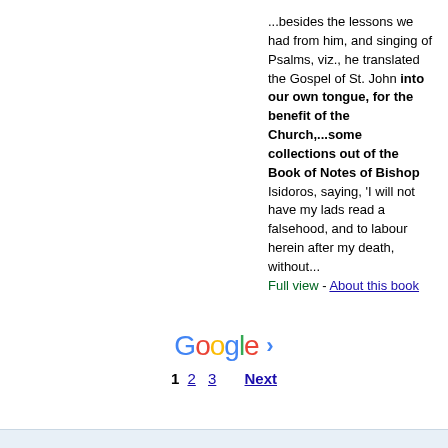...besides the lessons we had from him, and singing of Psalms, viz., he translated the Gospel of St. John into our own tongue, for the benefit of the Church,...some collections out of the Book of Notes of Bishop Isidoros, saying, 'I will not have my lads read a falsehood, and to labour herein after my death, without... Full view - About this book
[Figure (other): Google pagination bar with logo and page numbers 1, 2, 3 and Next link]